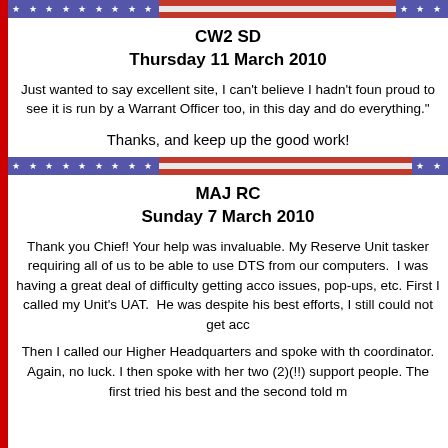[Figure (infographic): Patriotic flag divider bar with blue stars section on left, red/white/red stripes in middle, and blue stars section on right]
CW2 SD
Thursday 11 March 2010
Just wanted to say excellent site, I can't believe I hadn't found it sooner. I am proud to see it is run by a Warrant Officer too, in this day and age where we have to do everything."
Thanks, and keep up the good work!
[Figure (infographic): Patriotic flag divider bar with blue stars section on left, red/white/red stripes in middle, and blue stars section on right]
MAJ RC
Sunday 7 March 2010
Thank you Chief! Your help was invaluable. My Reserve Unit received a tasker requiring all of us to be able to use DTS from our home computers.  I was having a great deal of difficulty getting access: Java issues, pop-ups, etc. First I called my Unit's UAT.  He was helpful but despite his best efforts, I still could not get access.
Then I called our Higher Headquarters and spoke with the DTS coordinator. Again, no luck. I then spoke with her two (2)(!!) technical support people. The first tried his best and the second told m